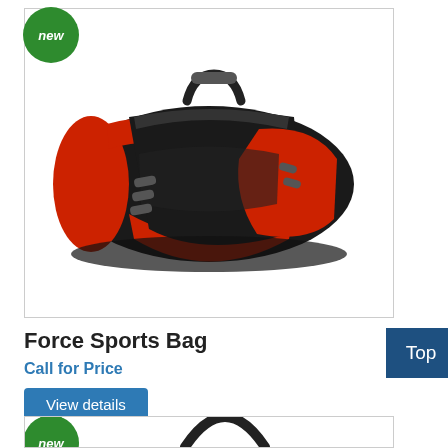[Figure (photo): Force Sports Bag product photo — black and red duffel bag with top handles, front zip pocket, and decorative zipper pulls. Green 'new' badge in top-left corner of image box.]
Force Sports Bag
Call for Price
View details
[Figure (photo): Second sports bag product photo (partially visible) — black duffel bag with top handle visible. Green 'new' badge in top-left corner of image box.]